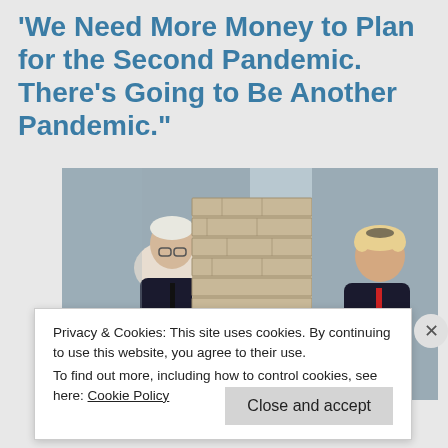'We Need More Money to Plan for the Second Pandemic. There's Going to Be Another Pandemic.'
[Figure (photo): Split composite photo: on the left, a man in a dark suit (Biden) at a podium with microphones; in the center, a stone wall (Western Wall); on the right, a man in a dark suit (Trump) touching the stone wall.]
Privacy & Cookies: This site uses cookies. By continuing to use this website, you agree to their use.
To find out more, including how to control cookies, see here: Cookie Policy